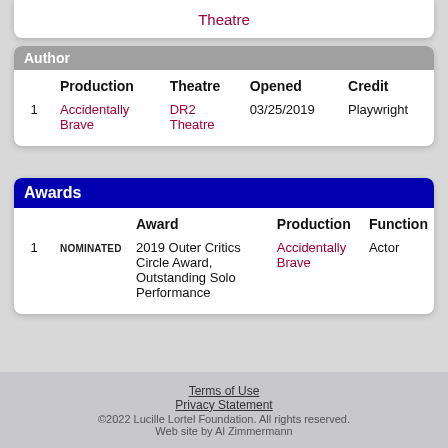Theatre
Author
|  | Production | Theatre | Opened | Credit |
| --- | --- | --- | --- | --- |
| 1 | Accidentally Brave | DR2 Theatre | 03/25/2019 | Playwright |
Awards
|  |  | Award | Production | Function |
| --- | --- | --- | --- | --- |
| 1 | NOMINATED | 2019 Outer Critics Circle Award, Outstanding Solo Performance | Accidentally Brave | Actor |
Terms of Use
Privacy Statement
©2022 Lucille Lortel Foundation. All rights reserved.
Web site by Al Zimmermann